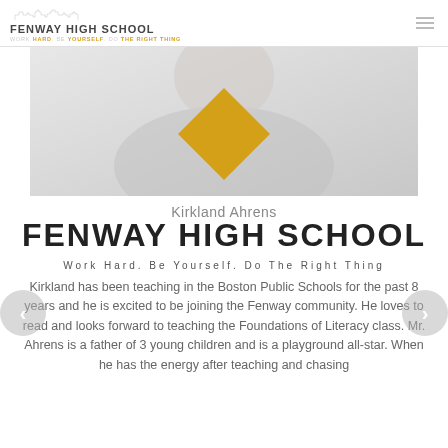FENWAY HIGH SCHOOL — Work Hard. Be Yourself. Do The Right Thing.
[Figure (photo): Close-up photo of a person wearing a grey shirt with a yellow diamond/rhombus shape in front of their face, obscuring their identity. Light grey background.]
Kirkland Ahrens
FENWAY HIGH SCHOOL
Work Hard. Be Yourself. Do The Right Thing
Kirkland has been teaching in the Boston Public Schools for the past 8 years and he is excited to be joining the Fenway community. He loves to read and looks forward to teaching the Foundations of Literacy class. Mr. Ahrens is a father of 3 young children and is a playground all-star. When he has the energy after teaching and chasing